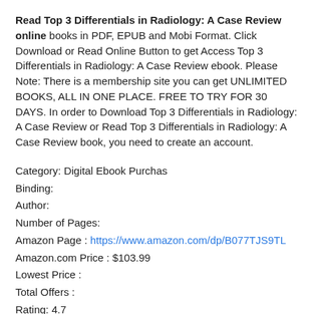Read Top 3 Differentials in Radiology: A Case Review online books in PDF, EPUB and Mobi Format. Click Download or Read Online Button to get Access Top 3 Differentials in Radiology: A Case Review ebook. Please Note: There is a membership site you can get UNLIMITED BOOKS, ALL IN ONE PLACE. FREE TO TRY FOR 30 DAYS. In order to Download Top 3 Differentials in Radiology: A Case Review or Read Top 3 Differentials in Radiology: A Case Review book, you need to create an account.
Category: Digital Ebook Purchas
Binding:
Author:
Number of Pages:
Amazon Page : https://www.amazon.com/dp/B077TJS9TL
Amazon.com Price : $103.99
Lowest Price :
Total Offers :
Rating: 4.7
Total Reviews: 14